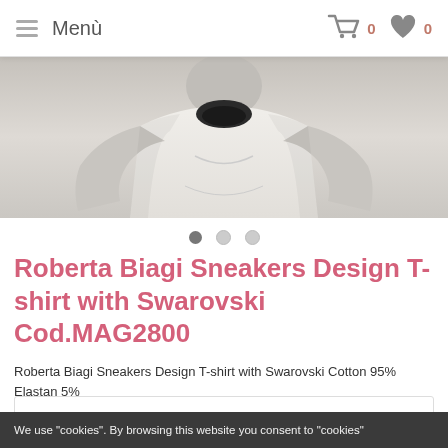Menù
[Figure (photo): Product photo showing a mannequin torso wearing a white t-shirt with dark neckline detail]
[Figure (other): Carousel navigation dots: one active (dark), two inactive (light grey)]
Roberta Biagi Sneakers Design T-shirt with Swarovski Cod.MAG2800
Roberta Biagi Sneakers Design T-shirt with Swarovski Cotton 95% Elastan 5%
We use "cookies". By browsing this website you consent to "cookies"